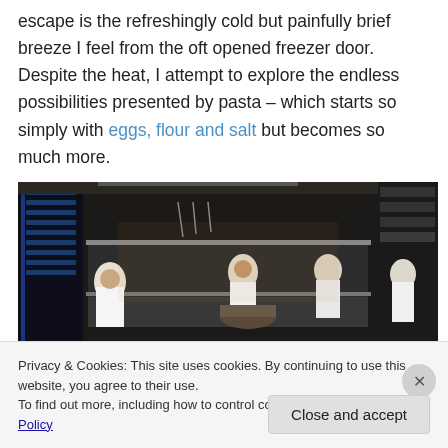escape is the refreshingly cold but painfully brief breeze I feel from the oft opened freezer door. Despite the heat, I attempt to explore the endless possibilities presented by pasta – which starts so simply with eggs, flour and salt but becomes so much more.
[Figure (photo): A busy restaurant kitchen with multiple chefs working at stations surrounded by stainless steel equipment and shelving.]
Privacy & Cookies: This site uses cookies. By continuing to use this website, you agree to their use.
To find out more, including how to control cookies, see here: Cookie Policy